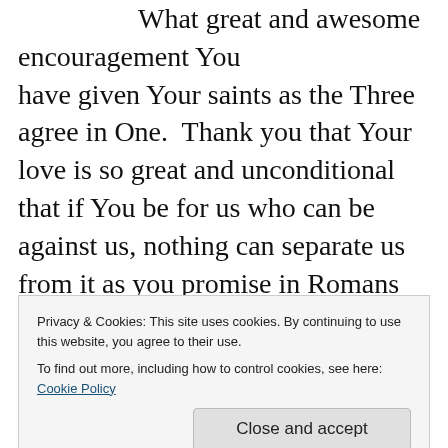What great and awesome encouragement You have given Your saints as the Three agree in One. Thank you that Your love is so great and unconditional that if You be for us who can be against us, nothing can separate us from it as you promise in Romans 8:31-39, "What shall we then say to these things? If God be for us, who can be against us? 32He that spared not his own Son, but delivered him up for us all, how shall he not with him also
Privacy & Cookies: This site uses cookies. By continuing to use this website, you agree to their use. To find out more, including how to control cookies, see here: Cookie Policy
also maketh intercession for us. 35Who shall separate us